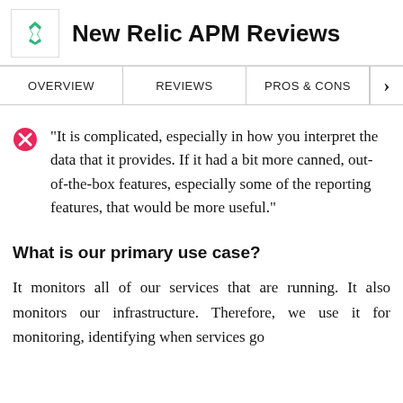New Relic APM Reviews
OVERVIEW | REVIEWS | PROS & CONS
"It is complicated, especially in how you interpret the data that it provides. If it had a bit more canned, out-of-the-box features, especially some of the reporting features, that would be more useful."
What is our primary use case?
It monitors all of our services that are running. It also monitors our infrastructure. Therefore, we use it for monitoring, identifying when services go